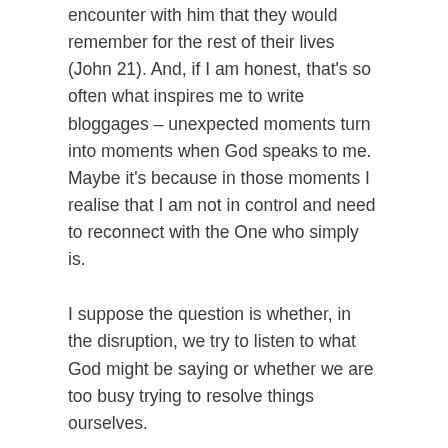encounter with him that they would remember for the rest of their lives (John 21). And, if I am honest, that's so often what inspires me to write bloggages – unexpected moments turn into moments when God speaks to me. Maybe it's because in those moments I realise that I am not in control and need to reconnect with the One who simply is.
I suppose the question is whether, in the disruption, we try to listen to what God might be saying or whether we are too busy trying to resolve things ourselves.
Be blessed, be a blessing
*Eucharist, Lord's Supper, Bread and Wine – depending on your tradition